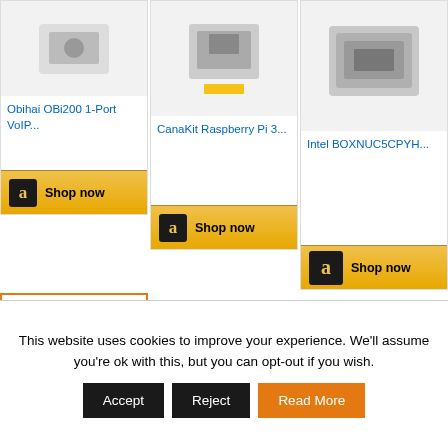[Figure (screenshot): Amazon product card: Obihai OBi200 1-Port VoIP with Shop now button]
[Figure (screenshot): Amazon product card: CanaKit Raspberry Pi 3 with Shop now button]
[Figure (screenshot): Amazon product card: Intel BOXNUC5CPYH with Shop now button]
[Figure (screenshot): Amazon ad card with Amazon logo and Echo Dot (2nd Generation) product]
This website uses cookies to improve your experience. We'll assume you're ok with this, but you can opt-out if you wish.
Accept | Reject | Read More